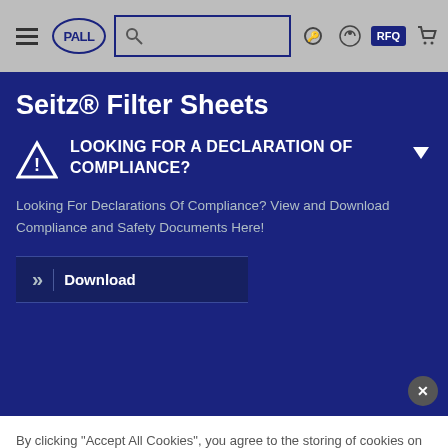PALL — Navigation bar with search, login, RFQ, cart
Seitz® Filter Sheets
LOOKING FOR A DECLARATION OF COMPLIANCE?
Looking For Declarations Of Compliance? View and Download Compliance and Safety Documents Here!
Download
By clicking "Accept All Cookies", you agree to the storing of cookies on your device to enhance site navigation, analyze site usage, and assist in our marketing efforts. Cookie Notice